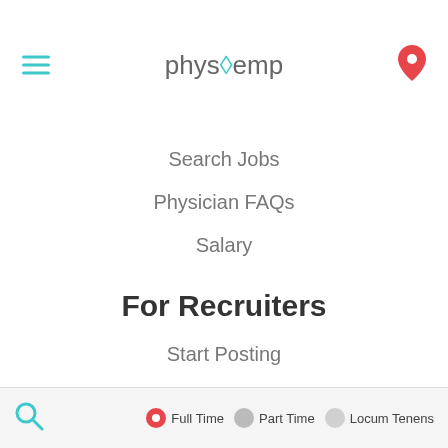physoemp
Search Jobs
Physician FAQs
Salary
For Recruiters
Start Posting
Employer FAQs
Blog
General
About Us
Privacy Policy
Terms & Conditions
Full Time  Part Time  Locum Tenens